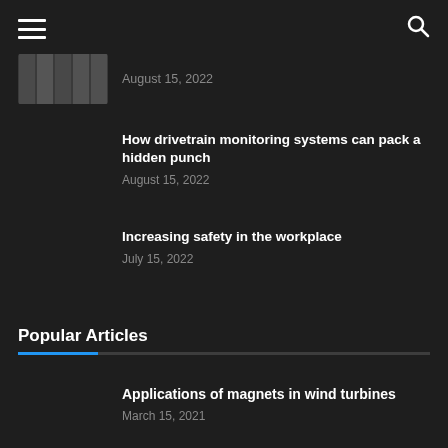Navigation menu and search icon
August 15, 2022
How drivetrain monitoring systems can pack a hidden punch
August 15, 2022
Increasing safety in the workplace
July 15, 2022
Popular Articles
Applications of magnets in wind turbines
March 15, 2021